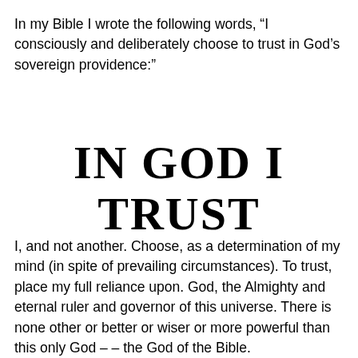In my Bible I wrote the following words, “I consciously and deliberately choose to trust in God’s sovereign providence:”
IN GOD I TRUST
I, and not another. Choose, as a determination of my mind (in spite of prevailing circumstances). To trust, place my full reliance upon. God, the Almighty and eternal ruler and governor of this universe. There is none other or better or wiser or more powerful than this only God – – the God of the Bible.